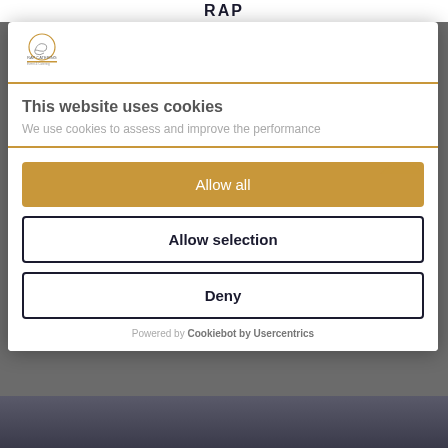RAP
[Figure (logo): Circular logo with swan/bird shape, gold/orange underline text below]
This website uses cookies
We use cookies to assess and improve the performance
[Figure (illustration): Partial orange arc/button decoration top right of buttons area]
Allow all
Allow selection
Deny
Powered by Cookiebot by Usercentrics